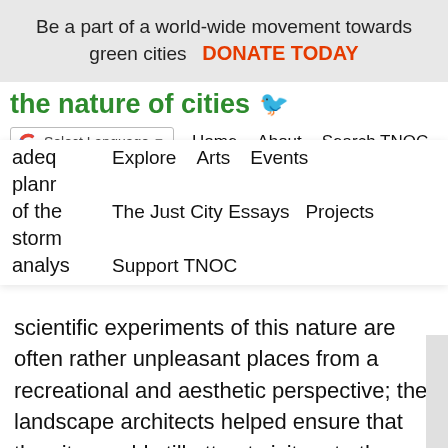Be a part of a world-wide movement towards green cities   DONATE TODAY
the nature of cities
Select Language | Home   About   Search TNOC
adeq
planr
of the
storm
analys
Explore   Arts   Events
The Just City Essays   Projects
Support TNOC
scientific experiments of this nature are often rather unpleasant places from a recreational and aesthetic perspective; the landscape architects helped ensure that the site would still attract visitors to the riparian area through careful